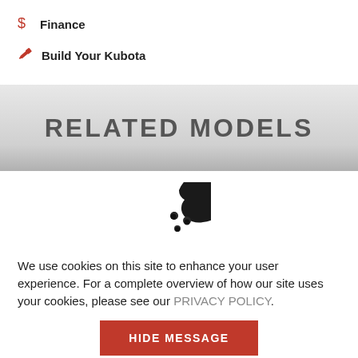$ Finance
Build Your Kubota
RELATED MODELS
[Figure (illustration): Cookie icon - a cookie with bite taken out and chocolate chips]
We use cookies on this site to enhance your user experience. For a complete overview of how our site uses your cookies, please see our PRIVACY POLICY.
HIDE MESSAGE